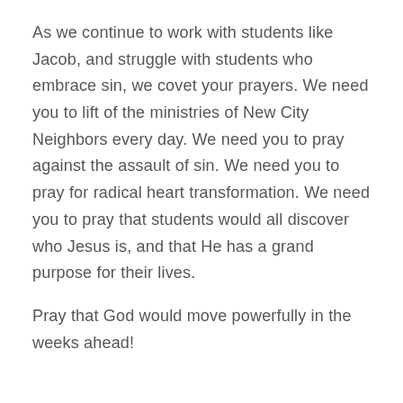As we continue to work with students like Jacob, and struggle with students who embrace sin, we covet your prayers. We need you to lift of the ministries of New City Neighbors every day. We need you to pray against the assault of sin. We need you to pray for radical heart transformation. We need you to pray that students would all discover who Jesus is, and that He has a grand purpose for their lives.
Pray that God would move powerfully in the weeks ahead!